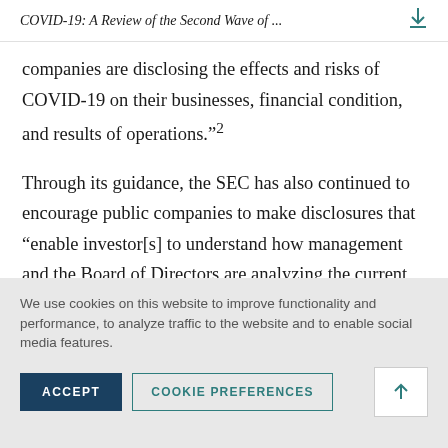COVID-19: A Review of the Second Wave of ...
companies are disclosing the effects and risks of COVID-19 on their businesses, financial condition, and results of operations.”²
Through its guidance, the SEC has also continued to encourage public companies to make disclosures that “enable investor[s] to understand how management and the Board of Directors are analyzing the current and expected impact of COVID-19 on the company’s
We use cookies on this website to improve functionality and performance, to analyze traffic to the website and to enable social media features.